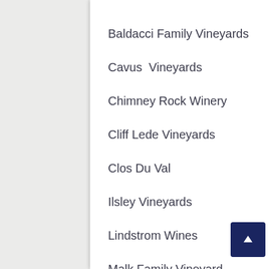Baldacci Family Vineyards
Cavus  Vineyards
Chimney Rock Winery
Cliff Lede Vineyards
Clos Du Val
Ilsley Vineyards
Lindstrom Wines
Malk Family Vineyard
Pine Ridge Vineyards
Quixote Winery
Regucci Winery